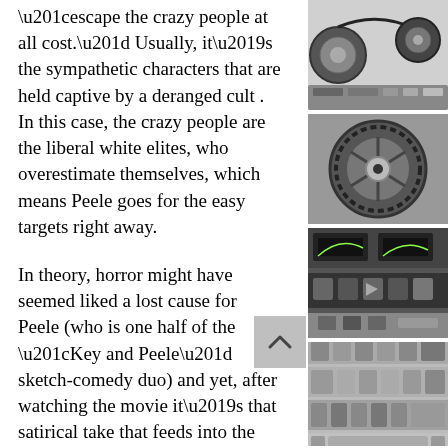“escape the crazy people at all cost.” Usually, it’s the sympathetic characters that are held captive by a deranged cult . In this case, the crazy people are the liberal white elites, who overestimate themselves, which means Peele goes for the easy targets right away.

In theory, horror might have seemed liked a lost cause for Peele (who is one half of the “Key and Peele” sketch-comedy duo) and yet, after watching the movie it’s that satirical take that feeds into the movies deeper pulses. In “Get Out” the protagonist, a dark-skinned black man named Chris (Daniel Kaluuya - terrific in his somber performance), is an on-the-rise big city photographer who has been
[Figure (photo): Black and white photos of reel-to-reel tape machine components, stacked vertically on the right side of the page]